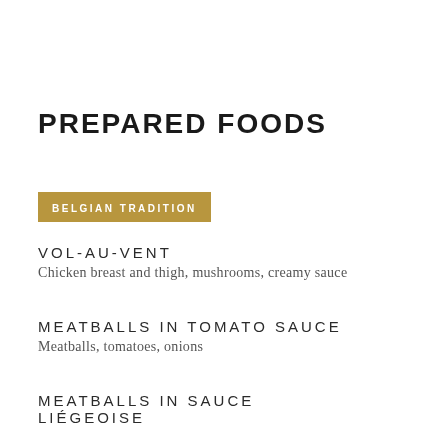PREPARED FOODS
BELGIAN TRADITION
VOL-AU-VENT
Chicken breast and thigh, mushrooms, creamy sauce
MEATBALLS IN TOMATO SAUCE
Meatballs, tomatoes, onions
MEATBALLS IN SAUCE LIÉGEOISE